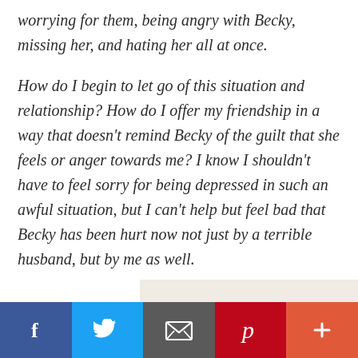worrying for them, being angry with Becky, missing her, and hating her all at once.
How do I begin to let go of this situation and relationship? How do I offer my friendship in a way that doesn't remind Becky of the guilt that she feels or anger towards me? I know I shouldn't have to feel sorry for being depressed in such an awful situation, but I can't help but feel bad that Becky has been hurt now not just by a terrible husband, but by me as well.
[Figure (other): Social media sharing bar with Facebook, Twitter, Email, Pinterest, and more buttons]